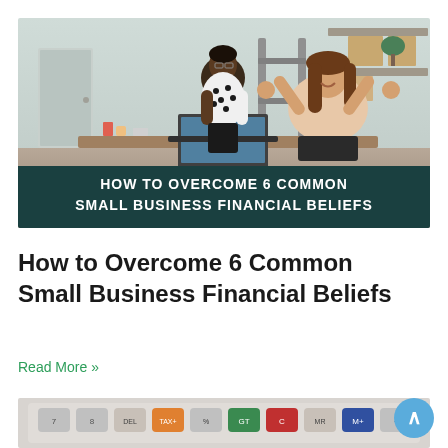[Figure (photo): Two women in an office/studio workspace celebrating in front of a laptop. One woman wearing a polka-dot blouse stands behind, the other with long brown hair celebrates with raised fists. Background shows shelves and boxes. Dark teal banner overlay at the bottom reads 'HOW TO OVERCOME 6 COMMON SMALL BUSINESS FINANCIAL BELIEFS' in bold white capital letters.]
How to Overcome 6 Common Small Business Financial Beliefs
Read More »
[Figure (photo): Close-up of a colorful calculator keyboard showing grey, orange, red, blue, and green keys with numbers and symbols.]